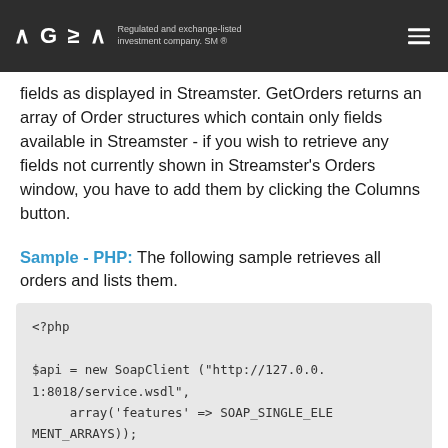AGEA — Regulated and exchange-listed investment company. SM ®
fields as displayed in Streamster. GetOrders returns an array of Order structures which contain only fields available in Streamster - if you wish to retrieve any fields not currently shown in Streamster's Orders window, you have to add them by clicking the Columns button.
Sample - PHP: The following sample retrieves all orders and lists them.
<?php

$api = new SoapClient ("http://127.0.0.1:8018/service.wsdl",
     array('features' => SOAP_SINGLE_ELEMENT_ARRAYS));

$r = $api -> GetOrders();
if(property_exists($r, "Order")) {
     foreach($r -> Order as $n => $OrderInfo) {